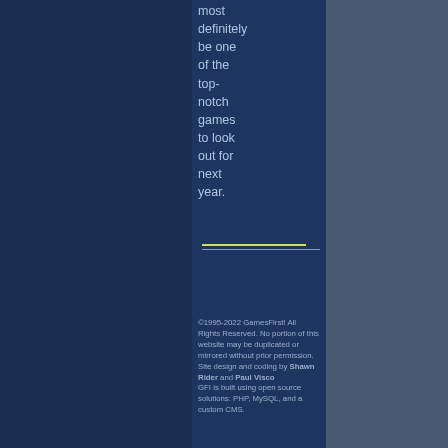most definitely be one of the top-notch games to look out for next year.
©1995-2022 GamesFirst! All Rights Reserved. No portion of this website may be duplicated or mirrored without prior permission. Site design and coding by Shawn Rider and Paul Visco GFI is built using open source solutions: PHP, MySQL, and a custom CMS.